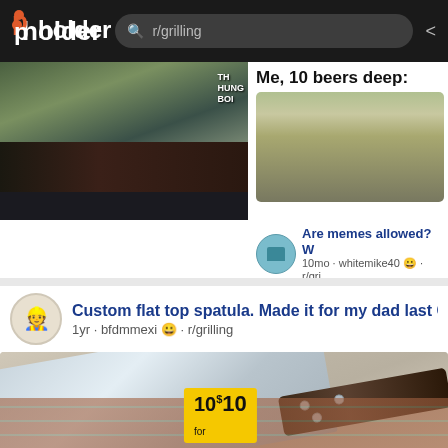pholder  r/grilling
[Figure (photo): Close-up photo of hands holding a burger with 'THE HUNGRY BOIS' text visible]
Me, 10 beers deep:
[Figure (photo): Photo of a person with blond hair giving thumbs up]
Are memes allowed? W
10mo · whitemike40 · r/gri
Custom flat top spatula. Made it for my dad last Christm
1yr · bfdmmexi · r/grilling
[Figure (photo): Photo of a large custom flat top spatula with wooden handle, shown on a counter. A price tag reading '10 for 10' is visible in the background.]